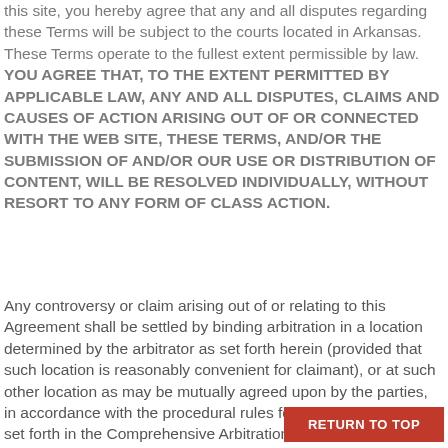this site, you hereby agree that any and all disputes regarding these Terms will be subject to the courts located in Arkansas. These Terms operate to the fullest extent permissible by law. YOU AGREE THAT, TO THE EXTENT PERMITTED BY APPLICABLE LAW, ANY AND ALL DISPUTES, CLAIMS AND CAUSES OF ACTION ARISING OUT OF OR CONNECTED WITH THE WEB SITE, THESE TERMS, AND/OR THE SUBMISSION OF AND/OR OUR USE OR DISTRIBUTION OF CONTENT, WILL BE RESOLVED INDIVIDUALLY, WITHOUT RESORT TO ANY FORM OF CLASS ACTION.
Any controversy or claim arising out of or relating to this Agreement shall be settled by binding arbitration in a location determined by the arbitrator as set forth herein (provided that such location is reasonably convenient for claimant), or at such other location as may be mutually agreed upon by the parties, in accordance with the procedural rules for commercial disputes set forth in the Comprehensive Arbitration Rules and Procedures of JAMS (“JAMS Rules and Procedures”) then prevailing, and judgment upon the award rendered by the arbitrator(s) may be entered in any court having jurisdiction thereof. The arbitrator shall be selected pursuant to the JAMS Rules and … arbitrator
RETURN TO TOP